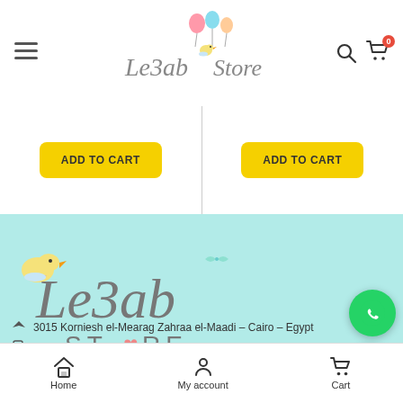[Figure (logo): Le3ab Store logo with colorful balloons and bird in header]
[Figure (screenshot): Two ADD TO CART yellow buttons in a product row]
[Figure (logo): Le3ab Store large logo on teal/mint background in footer]
3015 Korniesh el-Mearag Zahraa el-Maadi – Cairo – Egypt
Phone: (+020) 01067821637
Home   My account   Cart